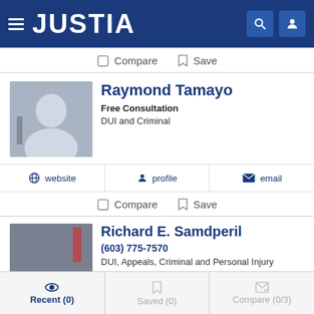JUSTIA
Compare  Save
Raymond Tamayo
Free Consultation
DUI and Criminal
website  profile  email
Compare  Save
Richard E. Samdperil
(603) 775-7570
DUI, Appeals, Criminal and Personal Injury
Recent (0)  Saved (0)  Compare (0/3)